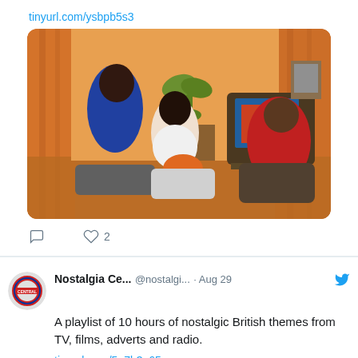tinyurl.com/ysbpb5s3
[Figure (photo): Vintage 1970s family watching a colour television in a retro living room with orange curtains and patterned carpet]
2 (likes)
Nostalgia Ce... @nostalgi... · Aug 29
A playlist of 10 hours of nostalgic British themes from TV, films, adverts and radio.
tinyurl.com/5n7b3p65
[Figure (photo): Black and white photo of person watching old television, with a red arrow overlay pointing upward]